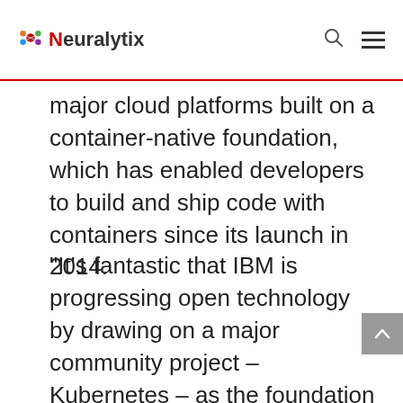Neuralytix
major cloud platforms built on a container-native foundation, which has enabled developers to build and ship code with containers since its launch in 2014.
“It’s fantastic that IBM is progressing open technology by drawing on a major community project – Kubernetes – as the foundation of its new container service,” said Alexis Richardson,